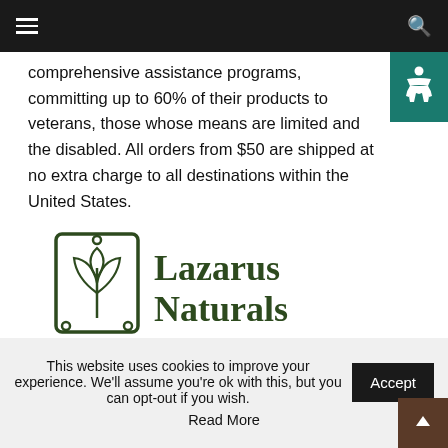Navigation bar with hamburger menu and search icon
comprehensive assistance programs, committing up to 60% of their products to veterans, those whose means are limited and the disabled. All orders from $50 are shipped at no extra charge to all destinations within the United States.
[Figure (logo): Lazarus Naturals logo with leaf/plant icon in dark green and text 'Lazarus Naturals']
[Figure (photo): Lazarus Naturals product bottles — two dropper bottles and two supplement jars with branded labels]
This website uses cookies to improve your experience. We'll assume you're ok with this, but you can opt-out if you wish. Read More